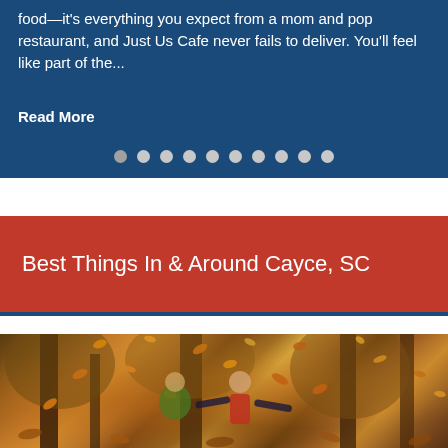food—it's everything you expect from a mom and pop restaurant, and Just Us Cafe never fails to deliver. You'll feel like part of the...
Read More
Best Things In & Around Cayce, SC
[Figure (photo): Two children playing in autumn leaves in a park with tall trees. One child has arms spread wide, appearing joyful, surrounded by falling orange and yellow leaves.]